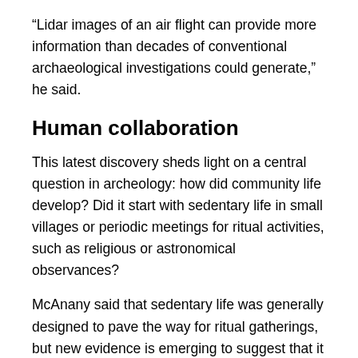“Lidar images of an air flight can provide more information than decades of conventional archaeological investigations could generate,” he said.
Human collaboration
This latest discovery sheds light on a central question in archeology: how did community life develop? Did it start with sedentary life in small villages or periodic meetings for ritual activities, such as religious or astronomical observances?
McAnany said that sedentary life was generally designed to pave the way for ritual gatherings, but new evidence is emerging to suggest that it was the other way around.
In the newly discovered site, the study claims that the lack of residential platforms suggested that its inhabitants led at least a partially mobile life.